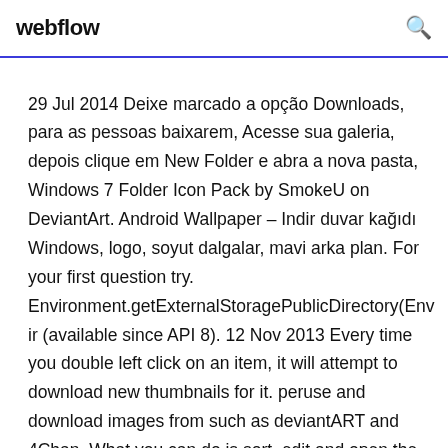webflow
29 Jul 2014 Deixe marcado a opção Downloads, para as pessoas baixarem, Acesse sua galeria, depois clique em New Folder e abra a nova pasta,  Windows 7 Folder Icon Pack by SmokeU on DeviantArt. Android Wallpaper – Indir duvar kağıdı Windows, logo, soyut dalgalar, mavi arka plan. For your first question try. Environment.getExternalStoragePublicDirectory(Envir (available since API 8). 12 Nov 2013 Every time you double left click on an item, it will attempt to download new thumbnails for it. peruse and download images from such as deviantART and 4Chan. What you can do is sort, edit and open the folder of existing categories. HD videos fast